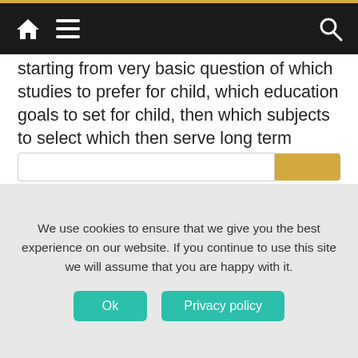Navigation bar with home, menu, and search icons
starting from very basic question of which studies to prefer for child, which education goals to set for child, then which subjects to select which then serve long term goals, how to find compatible education, which profession to choose, which profession is emerging in hyper changing environment & which profession is dying, what to choose & what to not, which academy & test session is better, rating of education level of institutions & many other possible education related issues & their solutions.
We use cookies to ensure that we give you the best experience on our website. If you continue to use this site we will assume that you are happy with it.
Ok
Privacy policy